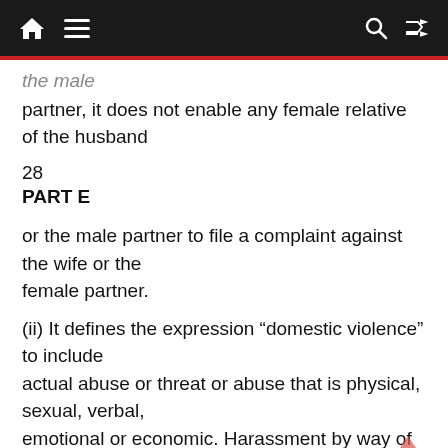the male
partner, it does not enable any female relative of the husband
28
PART E
or the male partner to file a complaint against the wife or the female partner.
(ii) It defines the expression “domestic violence” to include actual abuse or threat or abuse that is physical, sexual, verbal, emotional or economic. Harassment by way of unlawful dowry